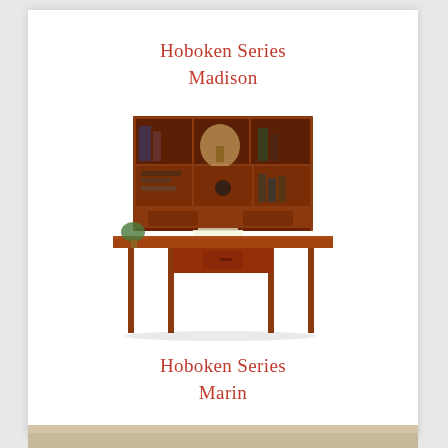Hoboken Series Madison
[Figure (photo): A mahogany executive desk set with a large hutch/bookcase unit on top featuring open shelves, cubbies, and storage compartments, placed on a wide pedestal desk with tapered legs]
Hoboken Series Marin
[Figure (photo): Partial view of another furniture piece at the bottom of the page, appears to be a lighter colored desk or table]